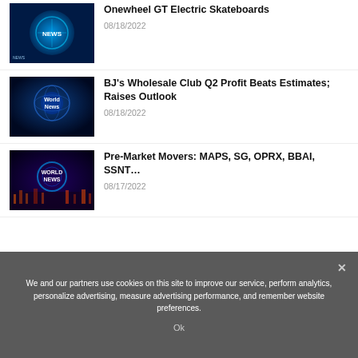[Figure (photo): News thumbnail with blue globe/NEWS graphic for Onewheel GT Electric Skateboards story]
Onewheel GT Electric Skateboards
08/18/2022
[Figure (photo): World News thumbnail with blue digital globe graphic]
BJ's Wholesale Club Q2 Profit Beats Estimates; Raises Outlook
08/18/2022
[Figure (photo): World News thumbnail with blue neon city graphic]
Pre-Market Movers: MAPS, SG, OPRX, BBAI, SSNT…
08/17/2022
We and our partners use cookies on this site to improve our service, perform analytics, personalize advertising, measure advertising performance, and remember website preferences.
Ok